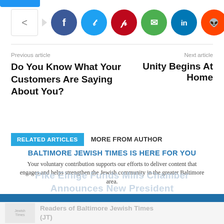[Figure (screenshot): Social share buttons row: share icon box, arrow, Facebook (purple), Twitter (cyan), Pinterest (red), WhatsApp (green), LinkedIn (dark blue), Reddit (orange), more (+) button]
Previous article
Next article
Do You Know What Your Customers Are Saying About You?
Unity Begins At Home
RELATED ARTICLES   MORE FROM AUTHOR
BALTIMORE JEWISH TIMES IS HERE FOR YOU
Your voluntary contribution supports our efforts to deliver content that engages and helps strengthen the Jewish community in the greater Baltimore area.
Pike Einige Funds Mills Chamber Announces New President
CONTRIBUTE
Readers of Baltimore Jewish Times (JT)